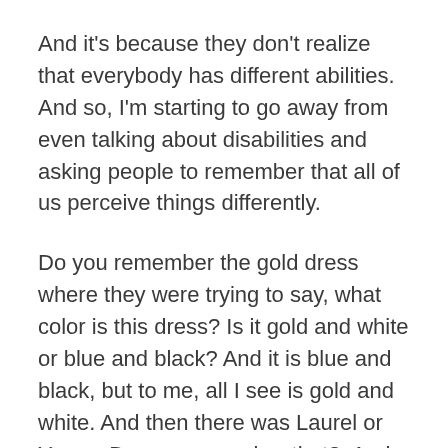And it's because they don't realize that everybody has different abilities. And so, I'm starting to go away from even talking about disabilities and asking people to remember that all of us perceive things differently.
Do you remember the gold dress where they were trying to say, what color is this dress? Is it gold and white or blue and black? And it is blue and black, but to me, all I see is gold and white. And then there was Laurel or Yanny. Do you remember that?. And some people heard it, and typically older people heard it as Laurel, and I've, and I do this in some of my presentations. I play that, that sound. And usually, it's Laurel for me, but sometimes it's Yanny. Even personally, it